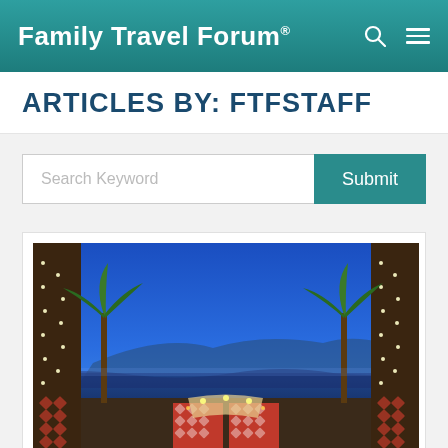Family Travel Forum®
ARTICLES BY: FTFSTAFF
Search Keyword
[Figure (photo): A Moroccan-style resort at twilight with illuminated palm trees, ornate columns with diamond patterns, outdoor dining area, blue sky, and water/mountains in background.]